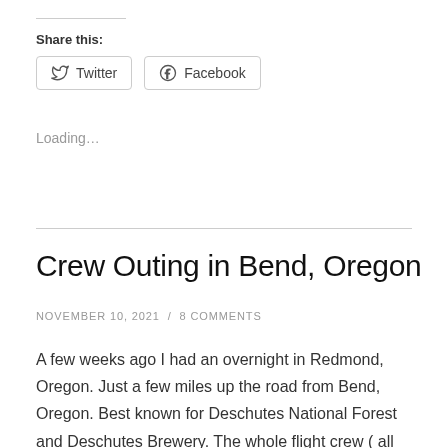Share this:
Twitter   Facebook
Loading…
Crew Outing in Bend, Oregon
NOVEMBER 10, 2021 / 8 COMMENTS
A few weeks ago I had an overnight in Redmond, Oregon. Just a few miles up the road from Bend, Oregon. Best known for Deschutes National Forest and Deschutes Brewery. The whole flight crew ( all